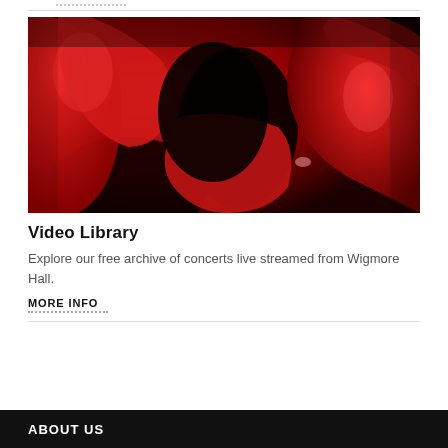[Figure (photo): Close-up photo of red theatre/auditorium seats with dramatic lighting]
Video Library
Explore our free archive of concerts live streamed from Wigmore Hall.
MORE INFO
ABOUT US